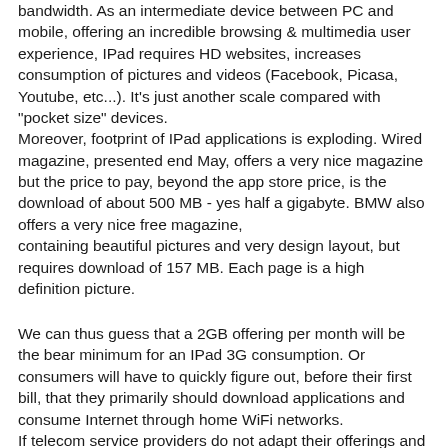bandwidth. As an intermediate device between PC and mobile, offering an incredible browsing & multimedia user experience, IPad requires HD websites, increases consumption of pictures and videos (Facebook, Picasa, Youtube, etc...). It's just another scale compared with "pocket size" devices. Moreover, footprint of IPad applications is exploding. Wired magazine, presented end May, offers a very nice magazine but the price to pay, beyond the app store price, is the download of about 500 MB - yes half a gigabyte. BMW also offers a very nice free magazine, containing beautiful pictures and very design layout, but requires download of 157 MB. Each page is a high definition picture.
We can thus guess that a 2GB offering per month will be the bear minimum for an IPad 3G consumption. Or consumers will have to quickly figure out, before their first bill, that they primarily should download applications and consume Internet through home WiFi networks. If telecom service providers do not adapt their offerings and do not warn consumers to take care of their IPad usage (through a continuous monitoring of the "connectivity icon")